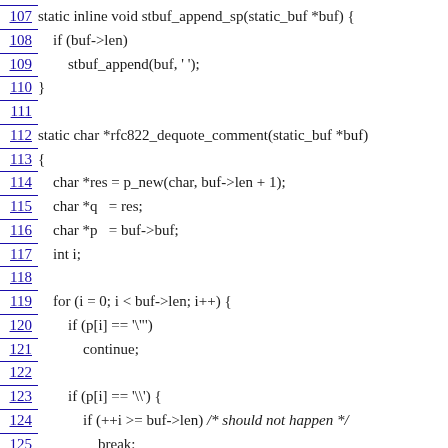107 static inline void stbuf_append_sp(static_buf *buf) {
108     if (buf->len)
109         stbuf_append(buf, ' ');
110 }
111
112 static char *rfc822_dequote_comment(static_buf *buf)
113 {
114     char *res = p_new(char, buf->len + 1);
115     char *q   = res;
116     char *p   = buf->buf;
117     int i;
118
119     for (i = 0; i < buf->len; i++) {
120         if (p[i] == '\"')
121             continue;
122
123         if (p[i] == '\\') {
124             if (++i >= buf->len) /* should not happen */
125                 break;
126         }
127
128         *q++ = p[i];
129     }
130
131     *q++ = '\0';